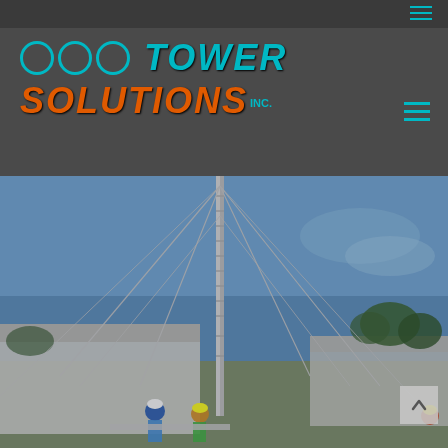[Figure (logo): OOO Tower Solutions Inc. logo with three cyan circles and stylized text in cyan (TOWER) and orange (SOLUTIONS) on dark gray background]
[Figure (photo): Workers erecting a tall metal guyed tower/mast outdoors under blue sky, with a white industrial building and trees in background. Workers wearing hard hats visible at base.]